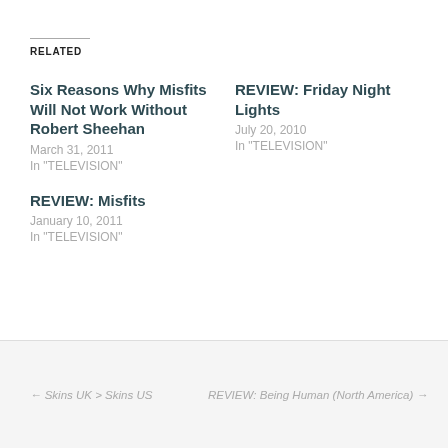RELATED
Six Reasons Why Misfits Will Not Work Without Robert Sheehan
March 31, 2011
In "TELEVISION"
REVIEW: Friday Night Lights
July 20, 2010
In "TELEVISION"
REVIEW: Misfits
January 10, 2011
In "TELEVISION"
← Skins UK > Skins US
REVIEW: Being Human (North America) →